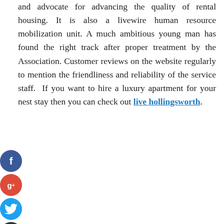and advocate for advancing the quality of rental housing. It is also a livewire human resource mobilization unit. A much ambitious young man has found the right track after proper treatment by the Association. Customer reviews on the website regularly to mention the friendliness and reliability of the service staff. If you want to hire a luxury apartment for your nest stay then you can check out live hollingsworth.
[Figure (infographic): Four social media sharing buttons: Facebook (blue circle with 'f'), Google+ (red circle with 'g+'), Twitter (light blue circle with bird icon), and a dark circle with '+' symbol.]